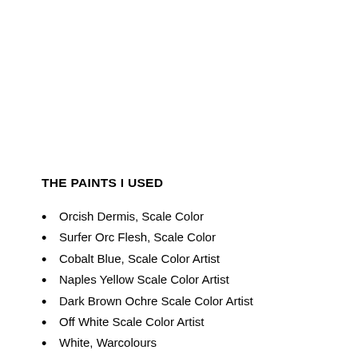THE PAINTS I USED
Orcish Dermis, Scale Color
Surfer Orc Flesh, Scale Color
Cobalt Blue, Scale Color Artist
Naples Yellow Scale Color Artist
Dark Brown Ochre Scale Color Artist
Off White Scale Color Artist
White, Warcolours
Flat Black, Scale Color
Transparent Burnt Umber acrylic ink, Liquitex